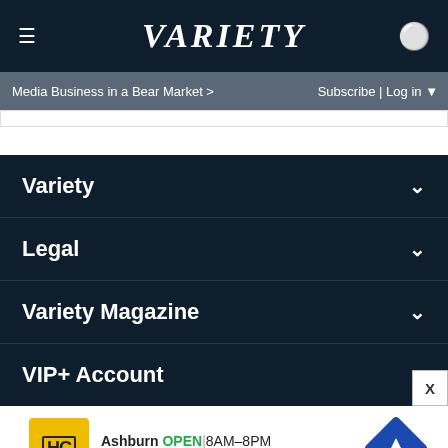Variety
Media Business in a Bear Market >
Subscribe | Log in
Variety
Legal
Variety Magazine
VIP+ Account
[Figure (screenshot): Advertisement for HC (Ashburn) showing OPEN 8AM-8PM, 44110 Ashburn Shopping Plaza 190, with navigation icon]